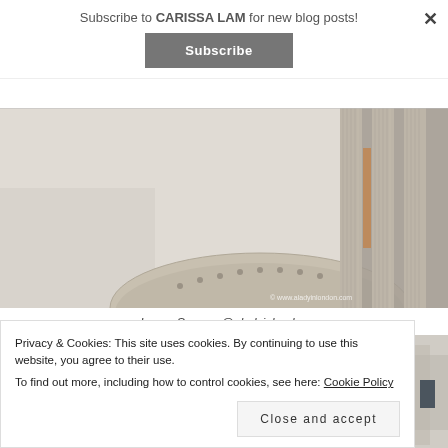Subscribe to CARISSA LAM for new blog posts!
Subscribe
[Figure (photo): Close-up of classical stone columns on a building facade with arched stonework and warm-lit windows in the background. Watermark reads: © www.aladyinlondon.com]
Image Source: @aladyinlondon
Privacy & Cookies: This site uses cookies. By continuing to use this website, you agree to their use.
To find out more, including how to control cookies, see here: Cookie Policy
Close and accept
[Figure (photo): Partial view of a city street scene, partially obscured by cookie banner overlay]